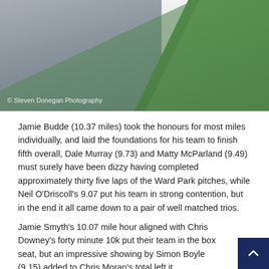[Figure (photo): A photograph of a concrete path alongside a green grass area, with a watermark '© Steven Donegan Photography' in the lower left.]
Jamie Budde (10.37 miles) took the honours for most miles individually, and laid the foundations for his team to finish fifth overall, Dale Murray (9.73) and Matty McParland (9.49) must surely have been dizzy having completed approximately thirty five laps of the Ward Park pitches, while Neil O'Driscoll's 9.07 put his team in strong contention, but in the end it all came down to a pair of well matched trios.
Jamie Smyth's 10.07 mile hour aligned with Chris Downey's forty minute 10k put their team in the box seat, but an impressive showing by Simon Boyle (9.15) added to Chris Moran's total left it